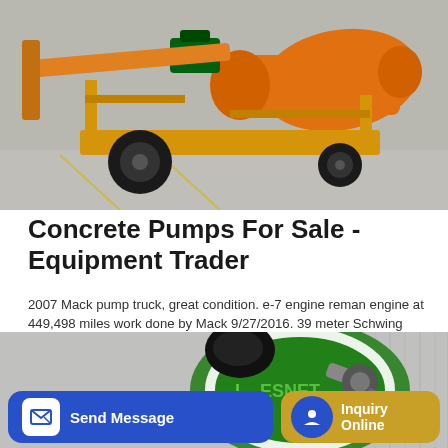[Figure (photo): Orange concrete pump truck with drum mixer on a warehouse/factory floor. Yellow metal frame structure visible.]
Concrete Pumps For Sale - Equipment Trader
2007 Mack pump truck, great condition. e-7 engine reman engine at 449,498 miles work done by Mack 9/27/2016. 39 meter Schwing pump 10amp cylinders lar Beelman Truck Company - Website East St. Louis, IL - 1,579 mi. away
[Figure (other): Blue GET A QUOTE button]
[Figure (photo): Green concrete mixer machine (Lesnet brand) on a grey corrugated metal background.]
[Figure (other): Bottom navigation bar with Send Message button (blue) and Inquiry Online button (gold/tan)]